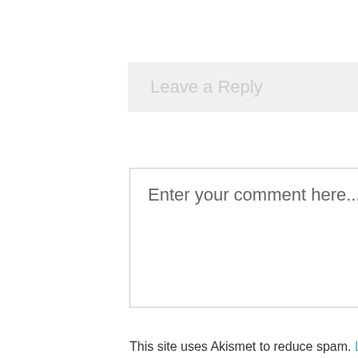Leave a Reply
Enter your comment here...
This site uses Akismet to reduce spam. Learn how your comment data is processed.
Search ..
RECENT POSTS
Inclusiv growth